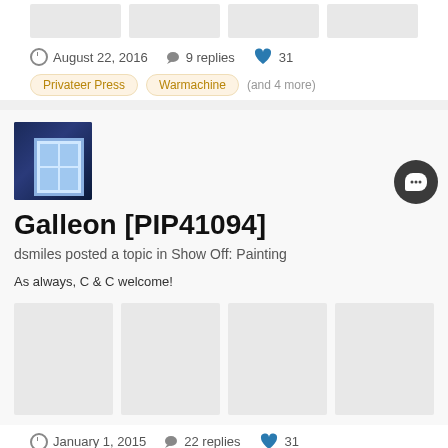[Figure (photo): Four image placeholders in a row at top of page]
August 22, 2016  9 replies  31
Privateer Press
Warmachine
(and 4 more)
[Figure (photo): TARDIS avatar image - dark blue police box]
Galleon [PIP41094]
dsmiles posted a topic in Show Off: Painting
As always, C & C welcome!
[Figure (photo): Four image placeholders in a row]
January 1, 2015  22 replies  31
Privateer Press
Warmachine
(and 6 more)
[Figure (photo): Dark avatar image at bottom]